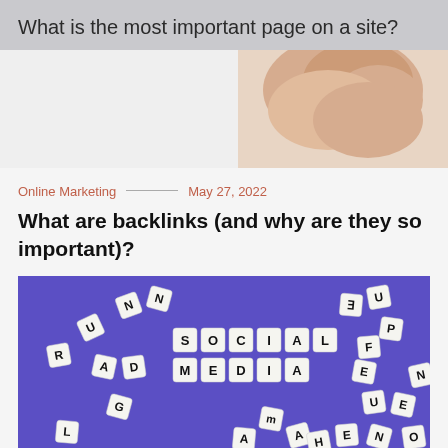What is the most important page on a site?
[Figure (photo): Partial view of a hand/fingers against a light background, cropped article thumbnail]
Online Marketing — May 27, 2022
What are backlinks (and why are they so important)?
[Figure (photo): Scrabble letter tiles spelling SOCIAL MEDIA on a purple background, with other scattered letter tiles around]